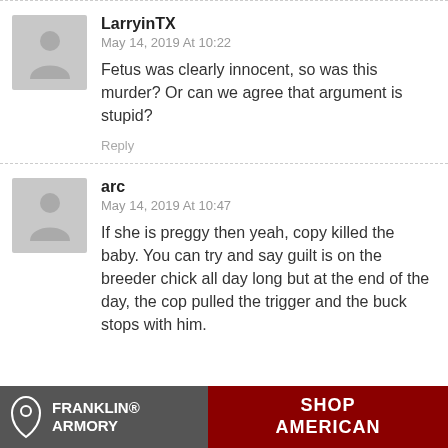LarryinTX
May 14, 2019 At 10:22
Fetus was clearly innocent, so was this murder? Or can we agree that argument is stupid?
Reply
arc
May 14, 2019 At 10:47
If she is preggy then yeah, copy killed the baby. You can try and say guilt is on the breeder chick all day long but at the end of the day, the cop pulled the trigger and the buck stops with him.
[Figure (photo): Franklin Armory advertisement banner with logo and text 'SHOP AMERICAN']